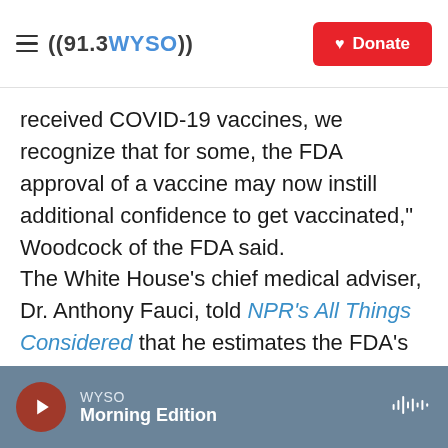((91.3WYSO)) | Donate
received COVID-19 vaccines, we recognize that for some, the FDA approval of a vaccine may now instill additional confidence to get vaccinated," Woodcock of the FDA said.
The White House's chief medical adviser, Dr. Anthony Fauci, told NPR's All Things Considered that he estimates the FDA's "official stamp of approval" will convince as many as 20% of the 90 million vaccine-eligible people in the U.S. who are still unvaccinated to sign up.
"I believe that those people will now step forward
WYSO | Morning Edition